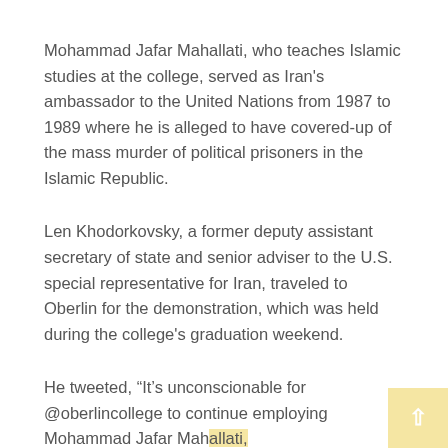Mohammad Jafar Mahallati, who teaches Islamic studies at the college, served as Iran's ambassador to the United Nations from 1987 to 1989 where he is alleged to have covered-up of the mass murder of political prisoners in the Islamic Republic.
Len Khodorkovsky, a former deputy assistant secretary of state and senior adviser to the U.S. special representative for Iran, traveled to Oberlin for the demonstration, which was held during the college's graduation weekend.
He tweeted, “It's unconscionable for @oberlincollege to continue employing Mohammad Jafar Mahallati, former Iranian regime official complicit in the